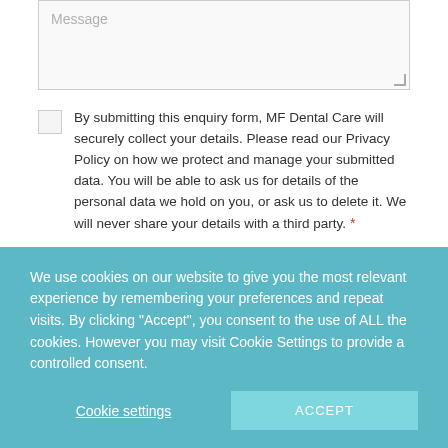[Figure (screenshot): Message textarea input field with placeholder text and resize handle]
By submitting this enquiry form, MF Dental Care will securely collect your details. Please read our Privacy Policy on how we protect and manage your submitted data. You will be able to ask us for details of the personal data we hold on you, or ask us to delete it. We will never share your details with a third party. *
[Figure (screenshot): Dark submit button]
We use cookies on our website to give you the most relevant experience by remembering your preferences and repeat visits. By clicking “Accept”, you consent to the use of ALL the cookies. However you may visit Cookie Settings to provide a controlled consent.
Cookie settings
ACCEPT